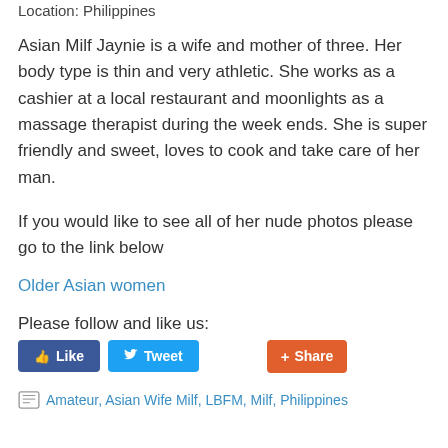Location: Philippines
Asian Milf Jaynie is a wife and mother of three. Her body type is thin and very athletic. She works as a cashier at a local restaurant and moonlights as a massage therapist during the week ends. She is super friendly and sweet, loves to cook and take care of her man.
If you would like to see all of her nude photos please go to the link below
Older Asian women
Please follow and like us:
[Figure (screenshot): Social media buttons: Like (Facebook blue), Tweet (Twitter blue), Share (orange)]
Amateur, Asian Wife Milf, LBFM, Milf, Philippines